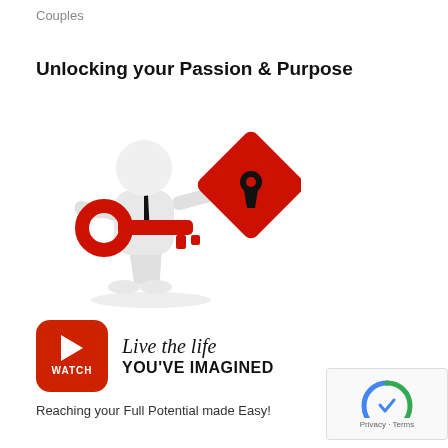Couples
Unlocking your Passion & Purpose
[Figure (illustration): 3D white figure holding a large red key pointing toward a red diamond-shaped keyhole sign]
[Figure (infographic): Red WATCH button with play triangle icon beside scripted text 'Live the life YOU'VE IMAGINED']
Reaching your Full Potential made Easy!